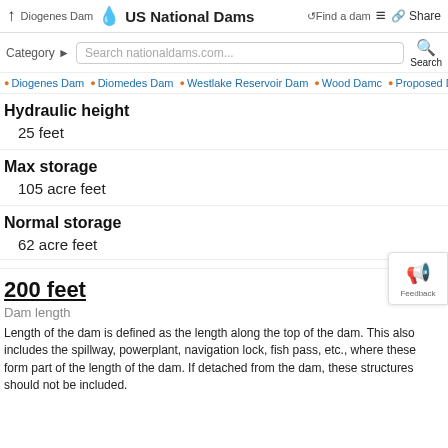↑ Diogenes Dam | US National Dams | ↺Find a dam | ≡ | Share
Category ▶ | Search nationaldams.com... | Search
Diogenes Dam · Diomedes Dam · Westlake Reservoir Dam · Wood Damc · Proposed Dan C
Hydraulic height
25 feet
Max storage
105 acre feet
Normal storage
62 acre feet
200 feet
Dam length
Length of the dam is defined as the length along the top of the dam. This also includes the spillway, powerplant, navigation lock, fish pass, etc., where these form part of the length of the dam. If detached from the dam, these structures should not be included.